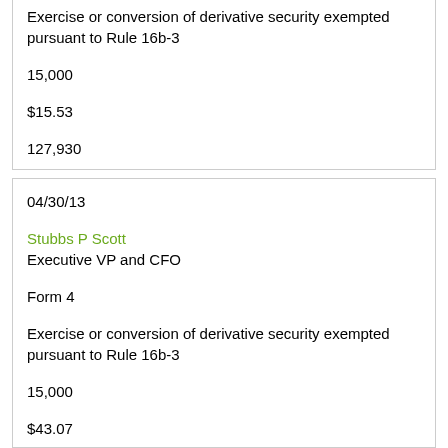| Exercise or conversion of derivative security exempted pursuant to Rule 16b-3 |
| 15,000 |
| $15.53 |
| 127,930 |
| 04/30/13 |
| Stubbs P Scott | Executive VP and CFO |
| Form 4 |
| Exercise or conversion of derivative security exempted pursuant to Rule 16b-3 |
| 15,000 |
| $43.07 |